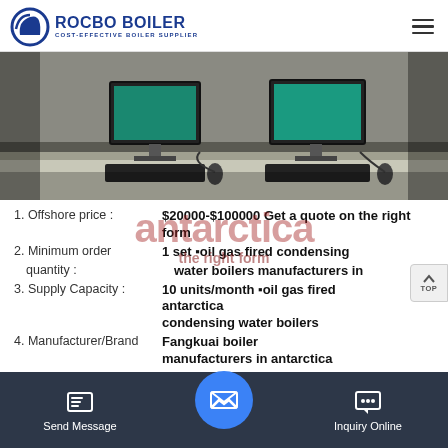ROCBO BOILER - COST-EFFECTIVE BOILER SUPPLIER
[Figure (photo): Office/lab room with two computer monitors on white desks, keyboards and mice visible, dark background]
1. Offshore price : $20000-$100000 Get a quote on the right form
2. Minimum order quantity : 1 set ■oil gas fired condensing water boilers manufacturers in
3. Supply Capacity : 10 units/month ■oil gas fired antarctica condensing water boilers
4. Manufacturer/Brand : Fangkuai boiler manufacturers in antarctica
5. Port : Anya...
Send Message | Inquiry Online